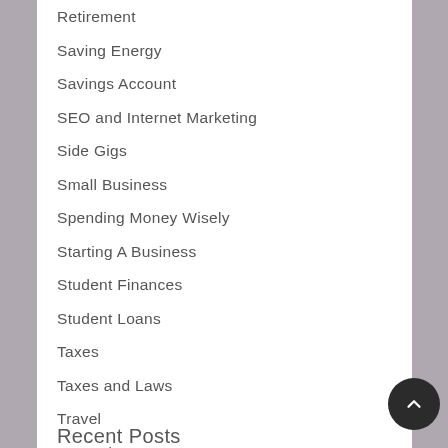Retirement
Saving Energy
Savings Account
SEO and Internet Marketing
Side Gigs
Small Business
Spending Money Wisely
Starting A Business
Student Finances
Student Loans
Taxes
Taxes and Laws
Travel
Unemployment
Work From home
Recent Posts